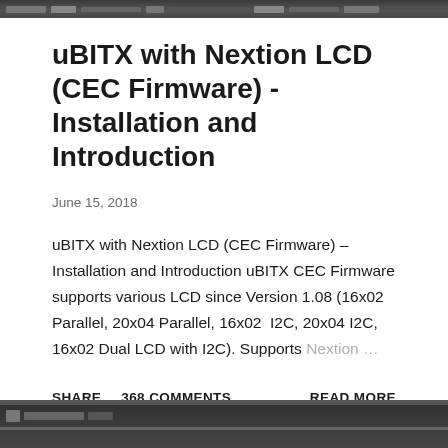[Figure (screenshot): Top screenshot bar showing toolbar or media player interface with dark background]
uBITX with Nextion LCD (CEC Firmware) - Installation and Introduction
June 15, 2018
uBITX with Nextion LCD (CEC Firmware) –  Installation and Introduction uBITX CEC Firmware supports various LCD since Version 1.08 (16x02 Parallel, 20x04 Parallel, 16x02  I2C, 20x04 I2C, 16x02 Dual LCD with I2C). Supports Nextion ...
SHARE    368 COMMENTS                                     READ MORE
[Figure (screenshot): Bottom screenshot bar showing another toolbar or media player interface with dark background]